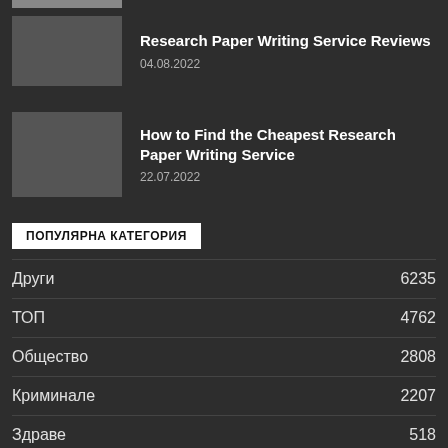[Figure (photo): Gray thumbnail image strip at top]
Research Paper Writing Service Reviews
04.08.2022
How to Find the Cheapest Research Paper Writing Service
22.07.2022
ПОПУЛЯРНА КАТЕГОРИЯ
Други  6235
ТОП  4762
Общество  2808
Криминале  2207
Здраве  518
К...  442